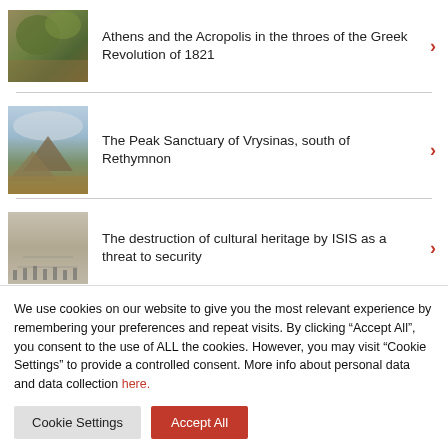Athens and the Acropolis in the throes of the Greek Revolution of 1821
The Peak Sanctuary of Vrysinas, south of Rethymnon
The destruction of cultural heritage by ISIS as a threat to security
We use cookies on our website to give you the most relevant experience by remembering your preferences and repeat visits. By clicking “Accept All”, you consent to the use of ALL the cookies. However, you may visit “Cookie Settings” to provide a controlled consent. More info about personal data and data collection here.